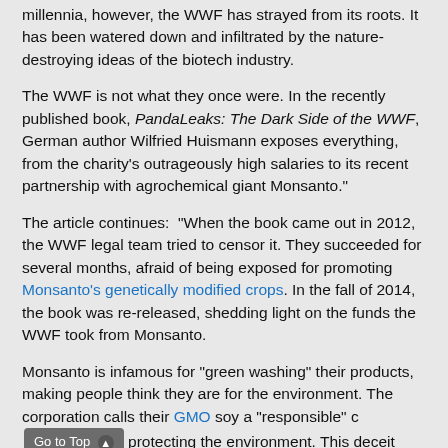millennia, however, the WWF has strayed from its roots. It has been watered down and infiltrated by the nature-destroying ideas of the biotech industry.
The WWF is not what they once were. In the recently published book, PandaLeaks: The Dark Side of the WWF, German author Wilfried Huismann exposes everything, from the charity's outrageously high salaries to its recent partnership with agrochemical giant Monsanto."
The article continues: "When the book came out in 2012, the WWF legal team tried to censor it. They succeeded for several months, afraid of being exposed for promoting Monsanto's genetically modified crops. In the fall of 2014, the book was re-released, shedding light on the funds the WWF took from Monsanto.
Monsanto is infamous for "green washing" their products, making people think they are for the environment. The corporation calls their GMO soy a "responsible" crop, protecting the environment. This deceit ultimately infected the WWF, which went along with plans to unleash GMO soy in the